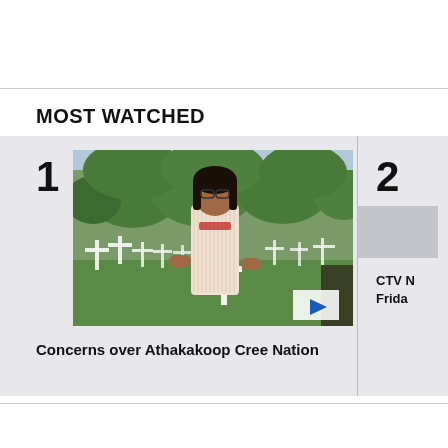MOST WATCHED
[Figure (screenshot): Video thumbnail showing a woman speaking outdoors in front of white crosses in a grassy area with trees. A blue play button is visible at the bottom right of the thumbnail.]
Concerns over Athakakoop Cree Nation
CTV N
Frida